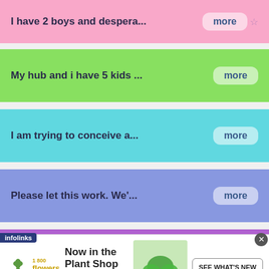I have 2 boys and despera... more ☆
My hub and i have 5 kids ... more
I am trying to conceive a... more
Please let this work. We'... more
Me and my Husband are try... more
I could conceive s... more
[Figure (screenshot): 1-800-Flowers advertisement banner: 'Now in the Plant Shop / Fresh picks for summer' with plant image and 'SEE WHAT'S NEW' button. Infolinks label and close button visible.]